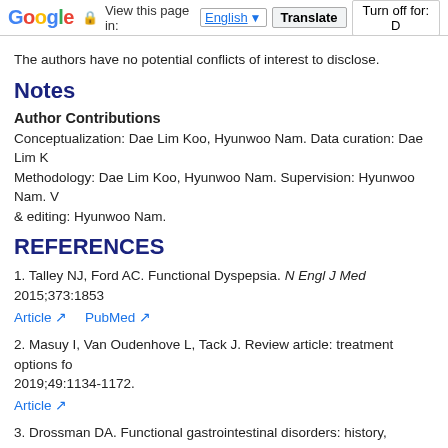Google  View this page in: English [▼]  Translate  Turn off for: D
The authors have no potential conflicts of interest to disclose.
Notes
Author Contributions
Conceptualization: Dae Lim Koo, Hyunwoo Nam. Data curation: Dae Lim K Methodology: Dae Lim Koo, Hyunwoo Nam. Supervision: Hyunwoo Nam. V & editing: Hyunwoo Nam.
REFERENCES
1. Talley NJ, Ford AC. Functional Dyspepsia. N Engl J Med 2015;373:1853
2. Masuy I, Van Oudenhove L, Tack J. Review article: treatment options fo 2019;49:1134-1172.
3. Drossman DA. Functional gastrointestinal disorders: history, pathophysi 2016;150:1262-1279.
4. Vege SS, Locke GR 3rd, Weaver AL, Farmer SA, Melton LJ 3rd, Talley N with sleep disturbances: a population-based study. Mayo Clin Proc 2004;79